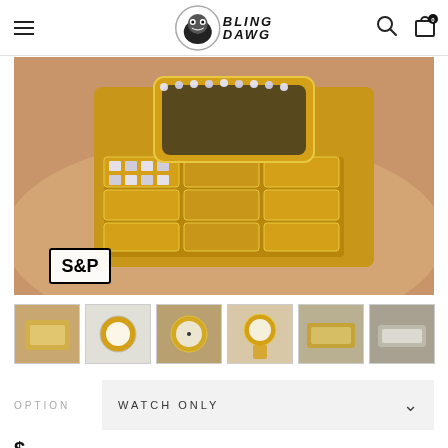Bling Dawg store header with menu, logo, search and cart icons
[Figure (photo): Close-up photo of a diamond-encrusted gold watch on a wrist, showing the watch band and bezel covered in crystals, with an S&P watermark in the lower left corner]
[Figure (photo): Thumbnail gallery row showing 6 product photos of a diamond iced-out watch from various angles]
OPTION   WATCH ONLY
$